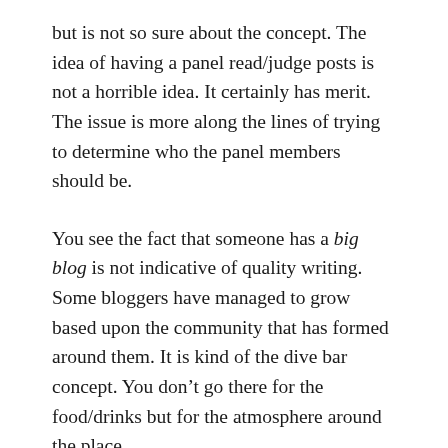but is not so sure about the concept. The idea of having a panel read/judge posts is not a horrible idea. It certainly has merit. The issue is more along the lines of trying to determine who the panel members should be.
You see the fact that someone has a big blog is not indicative of quality writing. Some bloggers have managed to grow based upon the community that has formed around them. It is kind of the dive bar concept. You don't go there for the food/drinks but for the atmosphere around the place.
To paraphrase Cheer’s “ it is a place where everyone knows your name.” There are a number